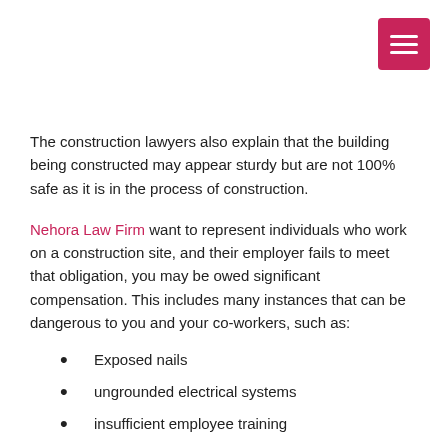The construction lawyers also explain that the building being constructed may appear sturdy but are not 100% safe as it is in the process of construction.
Nehora Law Firm want to represent individuals who work on a construction site, and their employer fails to meet that obligation, you may be owed significant compensation. This includes many instances that can be dangerous to you and your co-workers, such as:
Exposed nails
ungrounded electrical systems
insufficient employee training
improper safety procedures
heavy materials and tools
Nehora Law Firm mentions that your employer is required to do